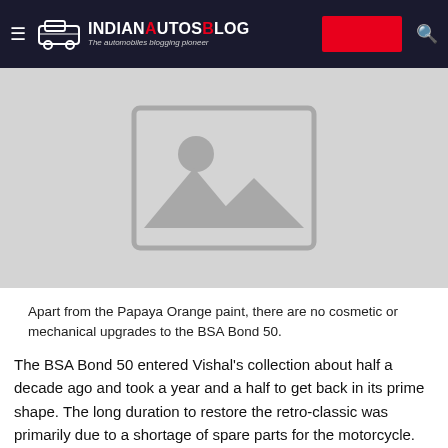IndianAutosBlog — The automobiles blogging pioneer
[Figure (photo): Placeholder image with mountain/landscape icon on a light grey background]
Apart from the Papaya Orange paint, there are no cosmetic or mechanical upgrades to the BSA Bond 50.
The BSA Bond 50 entered Vishal's collection about half a decade ago and took a year and a half to get back in its prime shape. The long duration to restore the retro-classic was primarily due to a shortage of spare parts for the motorcycle. However, his hard work paid-off and nearly one and a half